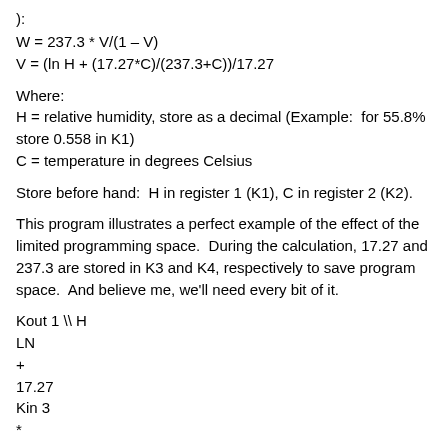):
Where:
H = relative humidity, store as a decimal (Example:  for 55.8% store 0.558 in K1)
C = temperature in degrees Celsius
Store before hand:  H in register 1 (K1), C in register 2 (K2).
This program illustrates a perfect example of the effect of the limited programming space.  During the calculation, 17.27 and 237.3 are stored in K3 and K4, respectively to save program space.  And believe me, we’ll need every bit of it.
Kout 1 \\ H
LN
+
17.27
Kin 3
*